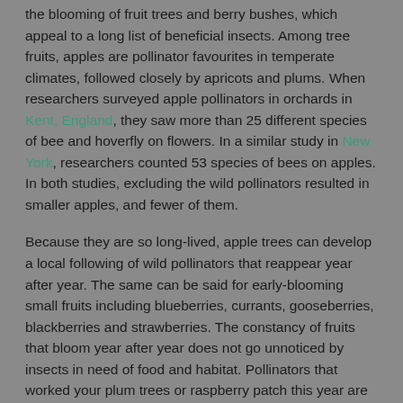the blooming of fruit trees and berry bushes, which appeal to a long list of beneficial insects. Among tree fruits, apples are pollinator favourites in temperate climates, followed closely by apricots and plums. When researchers surveyed apple pollinators in orchards in Kent, England, they saw more than 25 different species of bee and hoverfly on flowers. In a similar study in New York, researchers counted 53 species of bees on apples. In both studies, excluding the wild pollinators resulted in smaller apples, and fewer of them.
Because they are so long-lived, apple trees can develop a local following of wild pollinators that reappear year after year. The same can be said for early-blooming small fruits including blueberries, currants, gooseberries, blackberries and strawberries. The constancy of fruits that bloom year after year does not go unnoticed by insects in need of food and habitat. Pollinators that worked your plum trees or raspberry patch this year are not likely to move far from a known food supply.